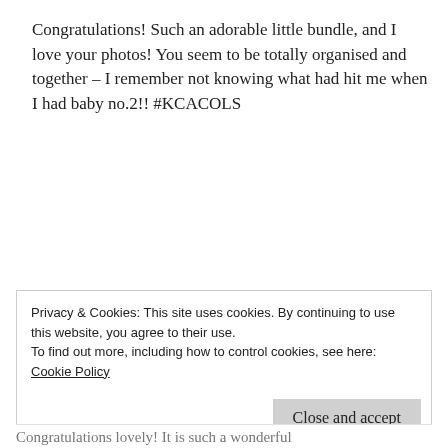Congratulations! Such an adorable little bundle, and I love your photos! You seem to be totally organised and together – I remember not knowing what had hit me when I had baby no.2!! #KCACOLS
★ Like
Reply
Privacy & Cookies: This site uses cookies. By continuing to use this website, you agree to their use.
To find out more, including how to control cookies, see here:
Cookie Policy
Close and accept
Congratulations lovely! It is such a wonderful